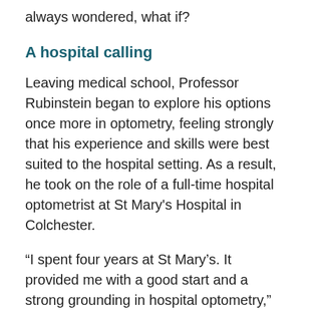always wondered, what if?
A hospital calling
Leaving medical school, Professor Rubinstein began to explore his options once more in optometry, feeling strongly that his experience and skills were best suited to the hospital setting. As a result, he took on the role of a full-time hospital optometrist at St Mary's Hospital in Colchester.
“I spent four years at St Mary’s. It provided me with a good start and a strong grounding in hospital optometry,” Professor Rubinstein shared. However, as an ambitious optometrist and with the hospital being quite small, he